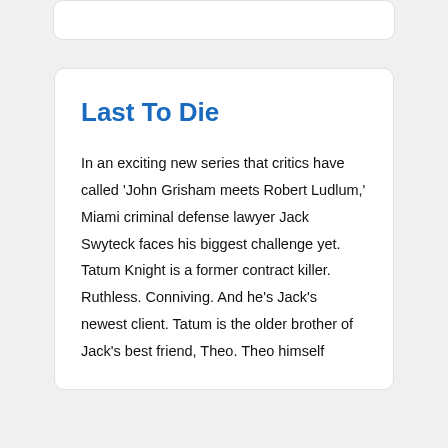Last To Die
In an exciting new series that critics have called 'John Grisham meets Robert Ludlum,' Miami criminal defense lawyer Jack Swyteck faces his biggest challenge yet. Tatum Knight is a former contract killer. Ruthless. Conniving. And he's Jack's newest client. Tatum is the older brother of Jack's best friend, Theo. Theo himself